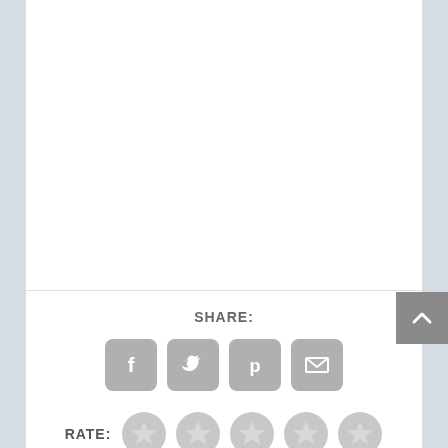[Figure (screenshot): White content area at the top of a webpage, empty visible content region]
SHARE:
[Figure (infographic): Row of four social share icon buttons: Facebook (f), Twitter (bird), Pinterest (p), Email (envelope) — all in grey rounded square buttons]
RATE:
[Figure (infographic): Five grey circular star rating icons in a row]